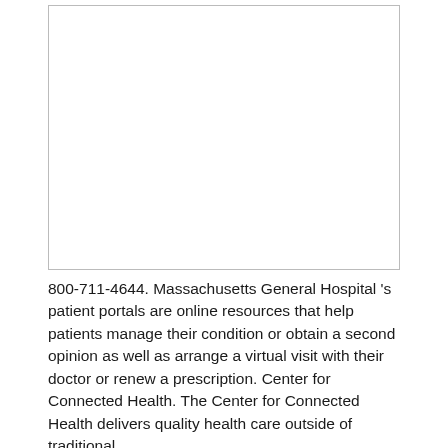[Figure (photo): Blank white image placeholder with a light gray border]
800-711-4644. Massachusetts General Hospital 's patient portals are online resources that help patients manage their condition or obtain a second opinion as well as arrange a virtual visit with their doctor or renew a prescription. Center for Connected Health. The Center for Connected Health delivers quality health care outside of traditional ...